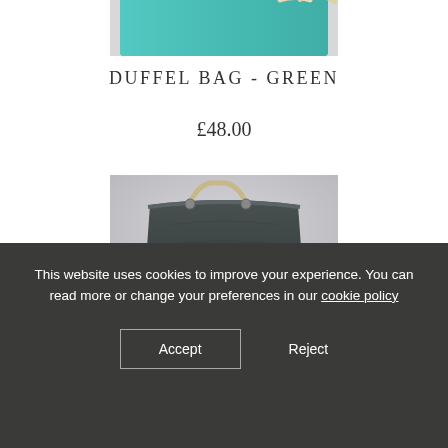[Figure (photo): Partial view of a green teal duffel bag with rope handle on white background, cropped at top]
DUFFEL BAG - GREEN
£48.00
[Figure (photo): Dark green/charcoal duffel bag with rope handle and label, on grey background, partially visible]
This website uses cookies to improve your experience. You can read more or change your preferences in our cookie policy
Accept
Reject